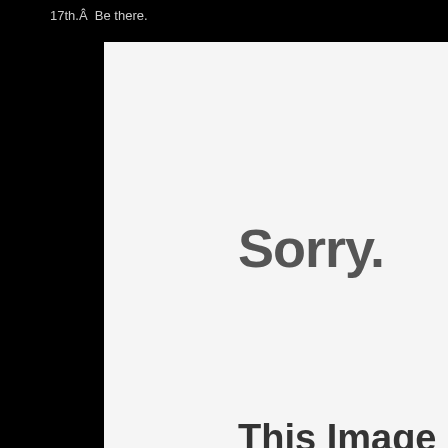17th.Â  Be there.
Sorry.
This Image Is cu